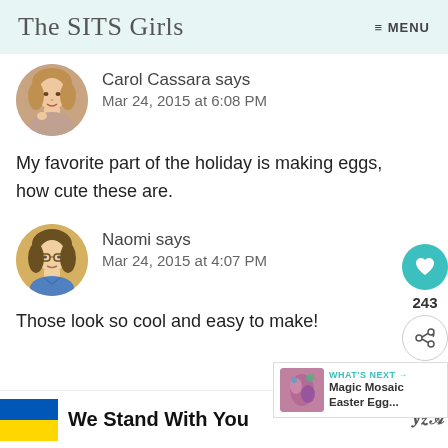The SITS Girls  ≡ MENU
Carol Cassara says
Mar 24, 2015 at 6:08 PM
My favorite part of the holiday is making eggs, how cute these are.
Naomi says
Mar 24, 2015 at 4:07 PM
Those look so cool and easy to make!
[Figure (infographic): Ad banner with Ukrainian flag and text 'We Stand With You']